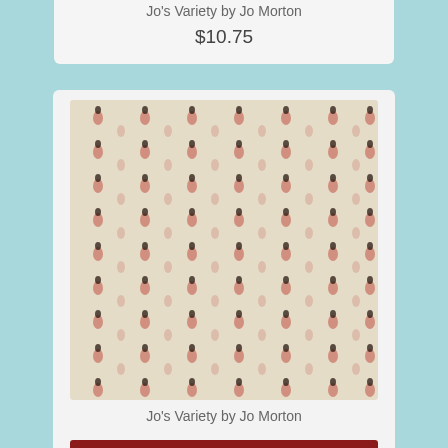Jo's Variety by Jo Morton
$10.75
[Figure (photo): Beige fabric with repeating small floral/medallion pattern in pink and dark brown/black — Jo's Variety by Jo Morton]
Jo's Variety by Jo Morton
$10.75
[Figure (photo): Deep red fabric with dark floral/vine pattern]